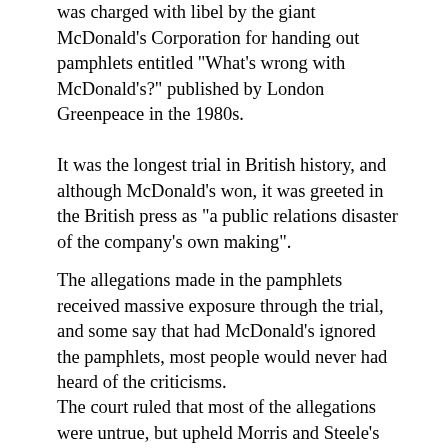was charged with libel by the giant McDonald's Corporation for handing out pamphlets entitled "What's wrong with McDonald's?" published by London Greenpeace in the 1980s.
It was the longest trial in British history, and although McDonald's won, it was greeted in the British press as "a public relations disaster of the company's own making".
The allegations made in the pamphlets received massive exposure through the trial, and some say that had McDonald's ignored the pamphlets, most people would never had heard of the criticisms.
The court ruled that most of the allegations were untrue, but upheld Morris and Steele's claim that McDonald's paid low wages, was responsible for cruelty to some